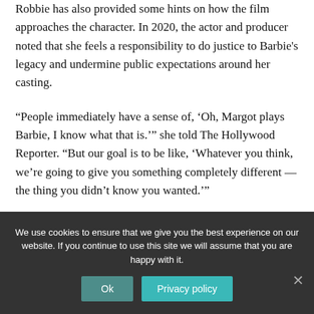Robbie has also provided some hints on how the film approaches the character. In 2020, the actor and producer noted that she feels a responsibility to do justice to Barbie's legacy and undermine public expectations around her casting.
“People immediately have a sense of, ‘Oh, Margot plays Barbie, I know what that is.’” she told The Hollywood Reporter. “But our goal is to be like, ‘Whatever you think, we’re going to give you something completely different — the thing you didn’t know you wanted.’”
Ryan, meanwhile, will be seen in Netflix’s mega-expensive
We use cookies to ensure that we give you the best experience on our website. If you continue to use this site we will assume that you are happy with it.